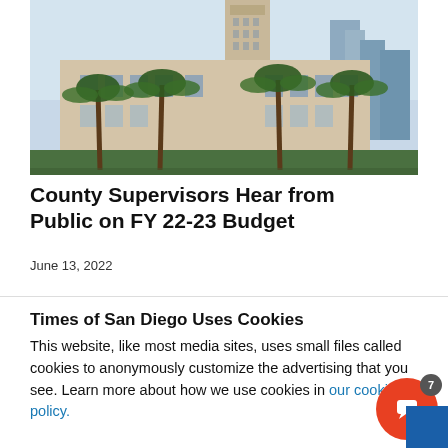[Figure (photo): Photograph of San Diego County Administration Building with palm trees in foreground and city skyscrapers in background, taken in warm golden light]
County Supervisors Hear from Public on FY 22-23 Budget
June 13, 2022
Times of San Diego Uses Cookies
This website, like most media sites, uses small files called cookies to anonymously customize the advertising that you see. Learn more about how we use cookies in our cookie policy.